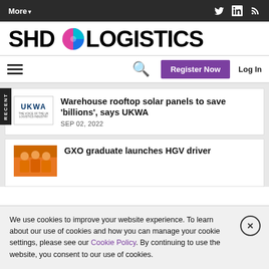More▼  [Twitter] [LinkedIn] [RSS]
[Figure (logo): SHD Logistics logo with circular icon between SHD and LOGISTICS text]
Hamburger menu | Search icon | Register Now | Log In
Warehouse rooftop solar panels to save 'billions', says UKWA
SEP 02, 2022
GXO graduate launches HGV driver
We use cookies to improve your website experience. To learn about our use of cookies and how you can manage your cookie settings, please see our Cookie Policy. By continuing to use the website, you consent to our use of cookies.